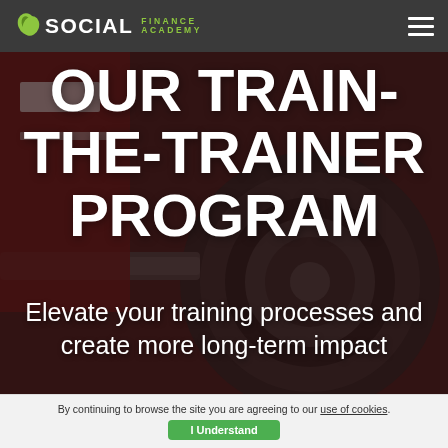SOCIAL FINANCE ACADEMY
[Figure (photo): Background photo of gym weight plates and equipment with dark red/maroon tones, semi-transparent dark overlay]
OUR TRAIN-THE-TRAINER PROGRAM
Elevate your training processes and create more long-term impact
By continuing to browse the site you are agreeing to our use of cookies. I Understand